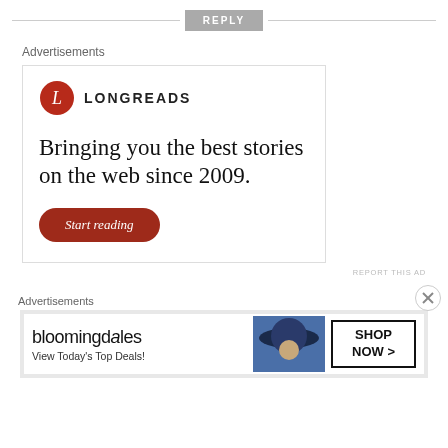[Figure (other): REPLY button with horizontal lines on either side]
Advertisements
[Figure (other): Longreads advertisement with logo, tagline 'Bringing you the best stories on the web since 2009.' and a 'Start reading' red button]
REPORT THIS AD
Advertisements
[Figure (other): Bloomingdale's banner advertisement: 'View Today's Top Deals!' with SHOP NOW > button and woman in hat photo]